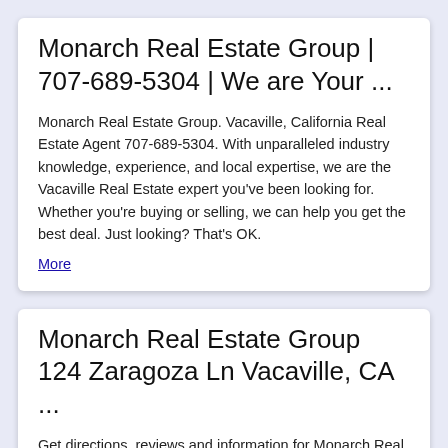Monarch Real Estate Group | 707-689-5304 | We are Your ...
Monarch Real Estate Group. Vacaville, California Real Estate Agent 707-689-5304. With unparalleled industry knowledge, experience, and local expertise, we are the Vacaville Real Estate expert you've been looking for. Whether you're buying or selling, we can help you get the best deal. Just looking? That's OK.
More
Monarch Real Estate Group 124 Zaragoza Ln Vacaville, CA ...
Get directions, reviews and information for Monarch Real Estate Group in Vacaville, CA. Monarch Real